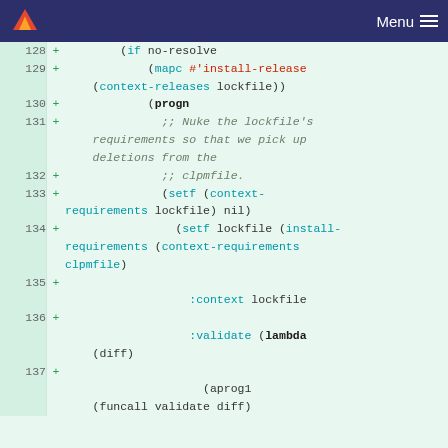GitLab logo | Menu
[Figure (screenshot): Diff view showing lines 128-137 of Lisp code with additions marked by + signs on a green-tinted background]